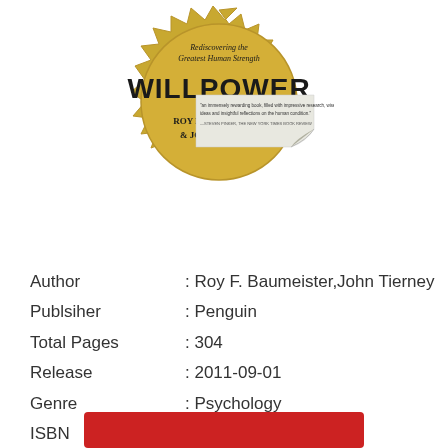[Figure (illustration): Book cover for 'Willpower: Rediscovering the Greatest Human Strength' by Roy F. Baumeister and John Tierney. Gold seal/badge design with the title WILLPOWER in large letters and authors' names below. A page-curl graphic with a review quote from Steven Pinker is shown below the seal.]
| Author | : Roy F. Baumeister,John Tierney |
| Publsiher | : Penguin |
| Total Pages | : 304 |
| Release | : 2011-09-01 |
| Genre | : Psychology |
| ISBN | : 9781101543771 |